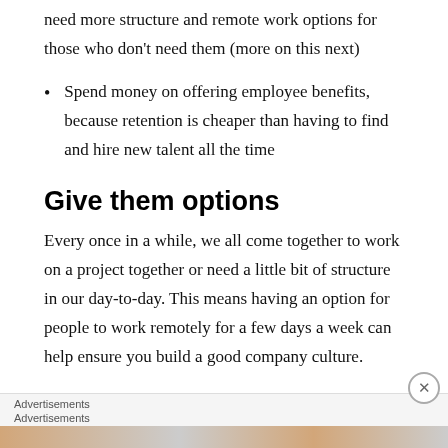need more structure and remote work options for those who don't need them (more on this next)
Spend money on offering employee benefits, because retention is cheaper than having to find and hire new talent all the time
Give them options
Every once in a while, we all come together to work on a project together or need a little bit of structure in our day-to-day. This means having an option for people to work remotely for a few days a week can help ensure you build a good company culture.
Advertisements
Advertisements